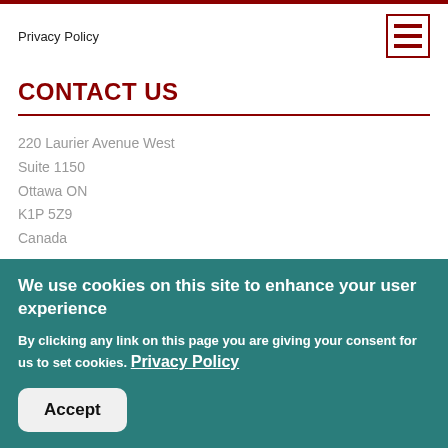Privacy Policy
CONTACT US
220 Laurier Avenue West
Suite 1150
Ottawa ON
K1P 5Z9
Canada
info@buildforce.ca
We use cookies on this site to enhance your user experience
By clicking any link on this page you are giving your consent for us to set cookies. Privacy Policy
Accept